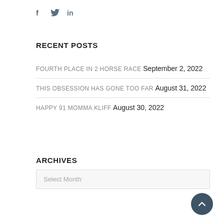[Figure (infographic): Social media icons: Facebook (f), Twitter (bird), LinkedIn (in) in steel blue color]
RECENT POSTS
FOURTH PLACE IN 2 HORSE RACE September 2, 2022
THIS OBSESSION HAS GONE TOO FAR August 31, 2022
HAPPY 91 MOMMA KLIFF August 30, 2022
ARCHIVES
Select Month
[Figure (other): Back to top button: dark teal circular button with upward chevron arrow]